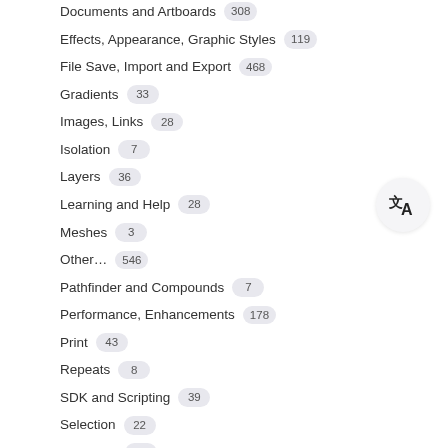Documents and Artboards 308
Effects, Appearance, Graphic Styles 119
File Save, Import and Export 468
Gradients 33
Images, Links 28
Isolation 7
Layers 36
Learning and Help 28
Meshes 3
Other... 546
Pathfinder and Compounds 7
Performance, Enhancements 178
Print 43
Repeats 8
SDK and Scripting 39
Selection 22
Snapping 38
Strokes 28
Symbols 11
Tools 533
Type, Fonts, Text 360